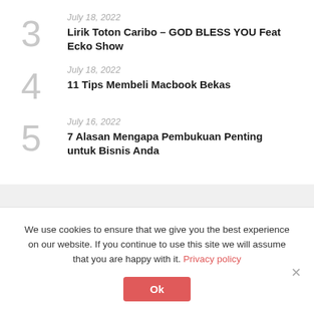3 · July 18, 2022 · Lirik Toton Caribo – GOD BLESS YOU Feat Ecko Show
4 · July 18, 2022 · 11 Tips Membeli Macbook Bekas
5 · July 16, 2022 · 7 Alasan Mengapa Pembukuan Penting untuk Bisnis Anda
We use cookies to ensure that we give you the best experience on our website. If you continue to use this site we will assume that you are happy with it. Privacy policy